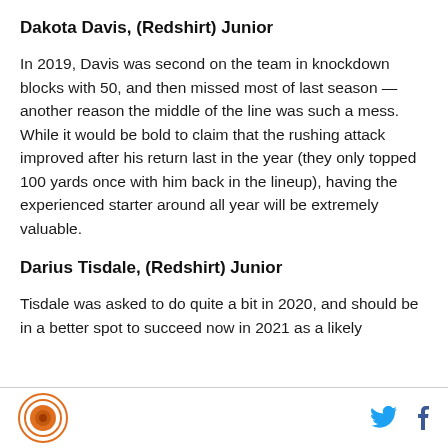Dakota Davis, (Redshirt) Junior
In 2019, Davis was second on the team in knockdown blocks with 50, and then missed most of last season — another reason the middle of the line was such a mess. While it would be bold to claim that the rushing attack improved after his return last in the year (they only topped 100 yards once with him back in the lineup), having the experienced starter around all year will be extremely valuable.
Darius Tisdale, (Redshirt) Junior
Tisdale was asked to do quite a bit in 2020, and should be in a better spot to succeed now in 2021 as a likely